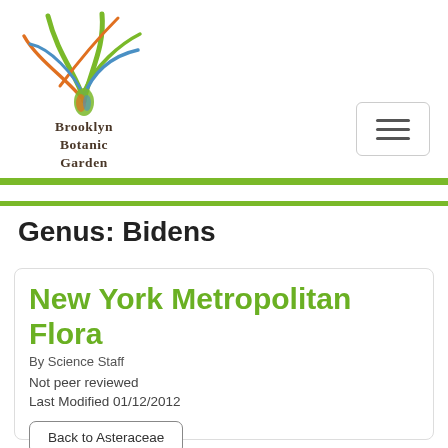[Figure (logo): Brooklyn Botanic Garden logo with abstract plant/leaf design in green, blue, and orange colors, with text 'Brooklyn Botanic Garden' below]
Genus: Bidens
New York Metropolitan Flora
By Science Staff
Not peer reviewed
Last Modified 01/12/2012
Back to Asteraceae